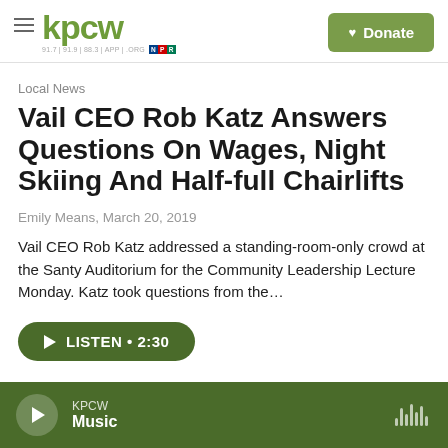kpcw | 91.7 | 91.9 | 88.3 | APP | .ORG | NPR | Donate
Local News
Vail CEO Rob Katz Answers Questions On Wages, Night Skiing And Half-full Chairlifts
Emily Means,  March 20, 2019
Vail CEO Rob Katz addressed a standing-room-only crowd at the Santy Auditorium for the Community Leadership Lecture Monday. Katz took questions from the...
LISTEN • 2:30
KPCW Music